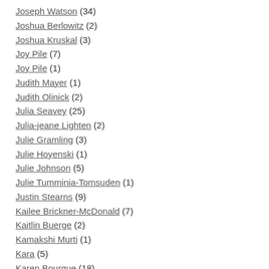Joseph Watson (34)
Joshua Berlowitz (2)
Joshua Kruskal (3)
Joy Pile (7)
Joy Pile (1)
Judith Mayer (1)
Judith Olinick (2)
Julia Seavey (25)
Julia-jeane Lighten (2)
Julie Gramling (3)
Julie Hoyenski (1)
Julie Johnson (5)
Julie Tumminia-Tomsuden (1)
Justin Stearns (9)
Kailee Brickner-McDonald (7)
Kaitlin Buerge (2)
Kamakshi Murti (1)
Kara (5)
Karen Bourque (18)